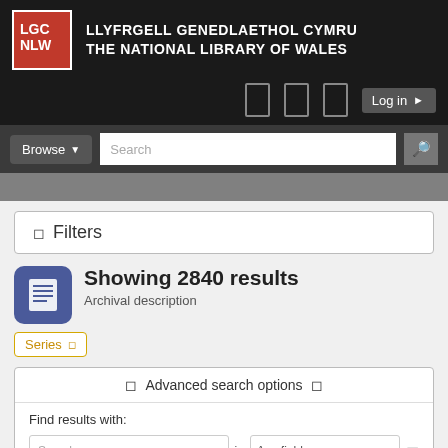LLYFRGELL GENEDLAETHOL CYMRU THE NATIONAL LIBRARY OF WALES
[Figure (logo): LGC NLW logo - red box with white text LGC on top and NLW below]
Log in
Browse  Search
Filters
Showing 2840 results
Archival description
Series
Advanced search options
Find results with:
Search  in  Any field